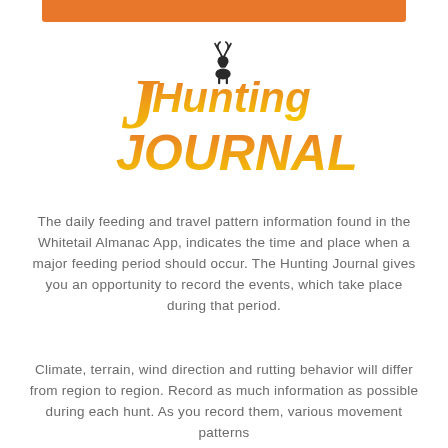[Figure (logo): Hunting Journal logo with deer silhouette and orange-to-yellow gradient text]
The daily feeding and travel pattern information found in the Whitetail Almanac App, indicates the time and place when a major feeding period should occur. The Hunting Journal gives you an opportunity to record the events, which take place during that period.
Climate, terrain, wind direction and rutting behavior will differ from region to region. Record as much information as possible during each hunt. As you record them, various movement patterns